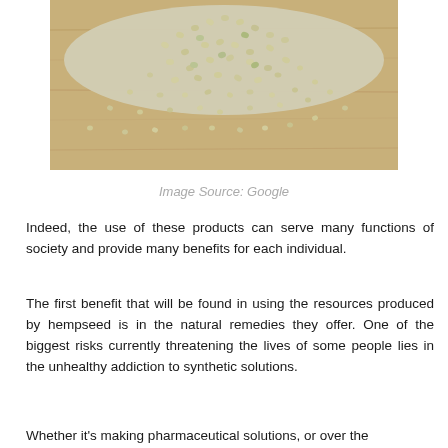[Figure (photo): Hemp seeds scattered on a wooden surface, viewed from above, showing a pile of small light-colored seeds on a light wood grain background.]
Image Source: Google
Indeed, the use of these products can serve many functions of society and provide many benefits for each individual.
The first benefit that will be found in using the resources produced by hempseed is in the natural remedies they offer. One of the biggest risks currently threatening the lives of some people lies in the unhealthy addiction to synthetic solutions.
Whether it's making pharmaceutical solutions, or over the